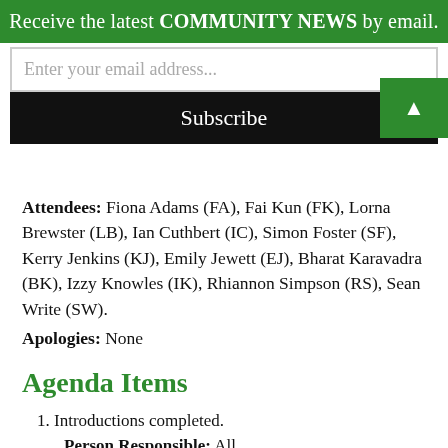Receive the latest COMMUNITY NEWS by email.
Enter your email address...
Subscribe
Attendees: Fiona Adams (FA), Fai Kun (FK), Lorna Brewster (LB), Ian Cuthbert (IC), Simon Foster (SF), Kerry Jenkins (KJ), Emily Jewett (EJ), Bharat Karavadra (BK), Izzy Knowles (IK), Rhiannon Simpson (RS), Sean Write (SW).
Apologies: None
Agenda Items
Introductions completed.
Person Responsible: All
Daily News Overview – FA has had a lot of stuff come in for tomorrow – news varies day to day.